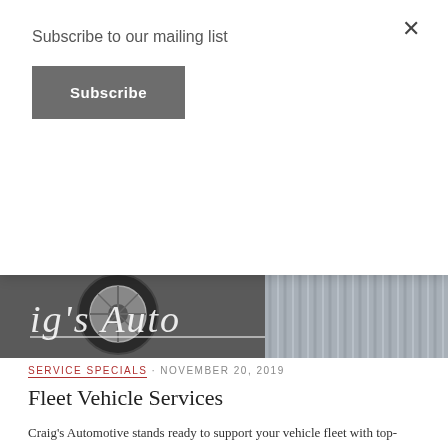Subscribe to our mailing list
Subscribe
[Figure (photo): Banner image showing a car wheel/tire and an automotive shop sign reading ig's Auto]
SERVICE SPECIALS · NOVEMBER 20, 2019
Fleet Vehicle Services
Craig's Automotive stands ready to support your vehicle fleet with top-shelf maintenance services to keep your fleet on the job at reasonable prices. Featured Services Major Engine RepairComputer DiagnosticsElectrical SystemsEmissions SystemsBG …